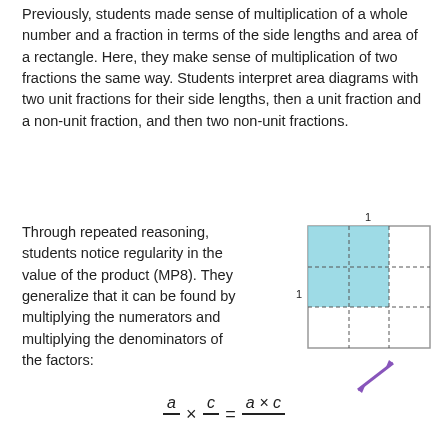Previously, students made sense of multiplication of a whole number and a fraction in terms of the side lengths and area of a rectangle. Here, they make sense of multiplication of two fractions the same way. Students interpret area diagrams with two unit fractions for their side lengths, then a unit fraction and a non-unit fraction, and then two non-unit fractions.
Through repeated reasoning, students notice regularity in the value of the product (MP8). They generalize that it can be found by multiplying the numerators and multiplying the denominators of the factors:
[Figure (illustration): A rectangle divided into a 3x3 grid with dashed interior lines. The top-left 2x2 portion (2 columns, 2 rows) is shaded in light blue/teal. The number '1' appears above the top edge and to the left of the left edge, indicating unit length. A purple double-headed diagonal arrow appears below-right of the rectangle indicating resize/scale.]